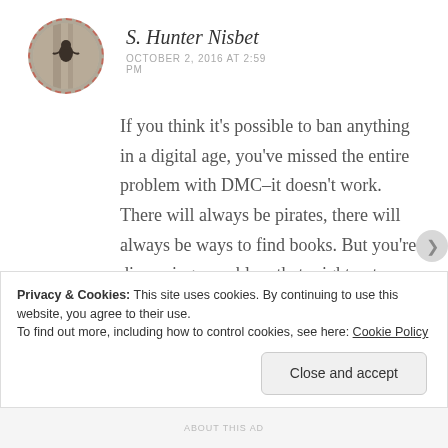S. Hunter Nisbet
OCTOBER 2, 2016 AT 2:59 PM
If you think it’s possible to ban anything in a digital age, you’ve missed the entire problem with DMC–it doesn’t work. There will always be pirates, there will always be ways to find books. But you’re discussing a problem that might not
Privacy & Cookies: This site uses cookies. By continuing to use this website, you agree to their use.
To find out more, including how to control cookies, see here: Cookie Policy
Close and accept